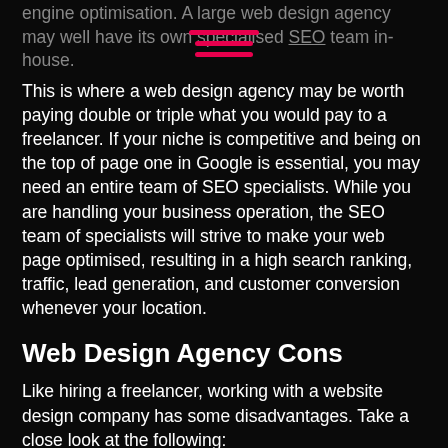engine optimisation. A large web design agency may well have its own specialised SEO team in-house.
This is where a web design agency may be worth paying double or triple what you would pay to a freelancer. If your niche is competitive and being on the top of page one in Google is essential, you may need an entire team of SEO specialists. While you are handling your business operation, the SEO team of specialists will strive to make your web page optimised, resulting in a high search ranking, traffic, lead generation, and customer conversion whenever your location.
Web Design Agency Cons
Like hiring a freelancer, working with a website design company has some disadvantages. Take a close look at the following:
1.The Services May Cost You An Arm or a Leg